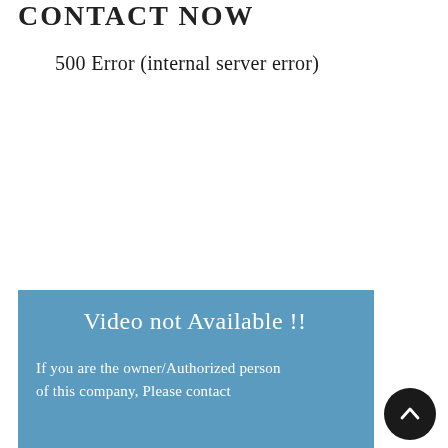CONTACT NOW
500 Error (internal server error)
[Figure (screenshot): Blue banner with white text reading 'Video not Available !!' and below it 'If you are the owner/Authorized person of this company, Please contact']